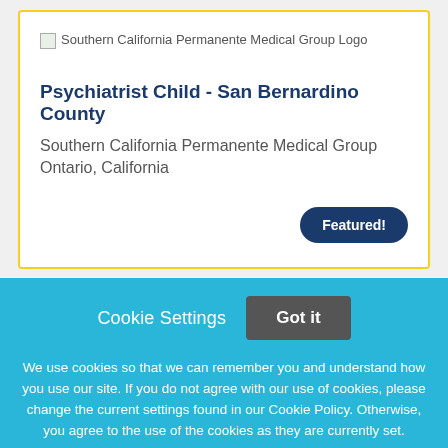[Figure (logo): Southern California Permanente Medical Group Logo placeholder image]
Psychiatrist Child - San Bernardino County
Southern California Permanente Medical Group
Ontario, California
Featured!
Cookie Settings
Got it
We use cookies so that we can remember you and understand how you use our site. If you do not agree with our use of cookies, please change the current settings found in our Cookie Policy. Otherwise, you agree to the use of the cookies as they are currently set.